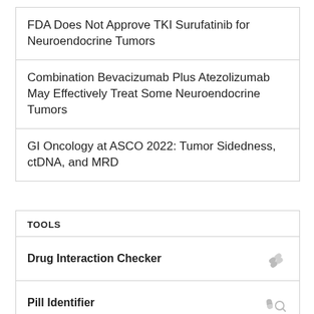FDA Does Not Approve TKI Surufatinib for Neuroendocrine Tumors
Combination Bevacizumab Plus Atezolizumab May Effectively Treat Some Neuroendocrine Tumors
GI Oncology at ASCO 2022: Tumor Sidedness, ctDNA, and MRD
TOOLS
Drug Interaction Checker
Pill Identifier